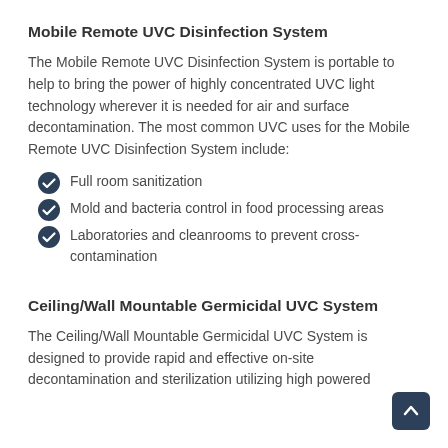Mobile Remote UVC Disinfection System
The Mobile Remote UVC Disinfection System is portable to help to bring the power of highly concentrated UVC light technology wherever it is needed for air and surface decontamination. The most common UVC uses for the Mobile Remote UVC Disinfection System include:
Full room sanitization
Mold and bacteria control in food processing areas
Laboratories and cleanrooms to prevent cross-contamination
Ceiling/Wall Mountable Germicidal UVC System
The Ceiling/Wall Mountable Germicidal UVC System is designed to provide rapid and effective on-site decontamination and sterilization utilizing high powered